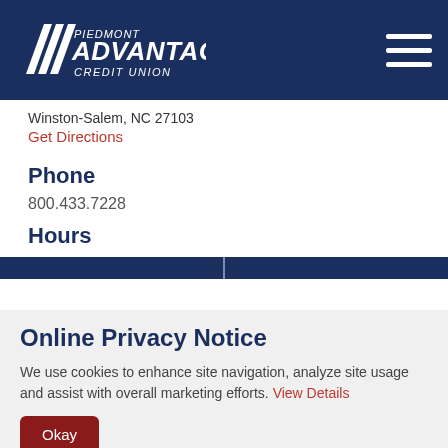Piedmont Advantage Credit Union
Winston-Salem, NC 27103
Get Directions
Phone
800.433.7228
Hours
Online Privacy Notice
We use cookies to enhance site navigation, analyze site usage and assist with overall marketing efforts. View Details
Okay